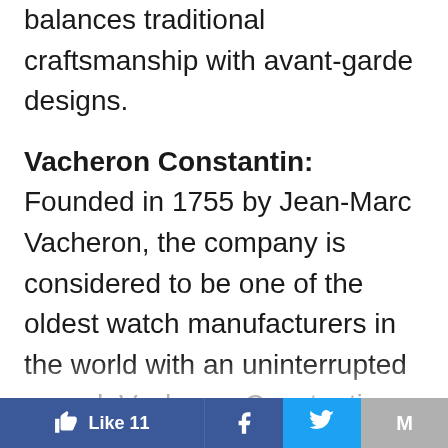balances traditional craftsmanship with avant-garde designs.
Vacheron Constantin: Founded in 1755 by Jean-Marc Vacheron, the company is considered to be one of the oldest watch manufacturers in the world with an uninterrupted record. Vacheron Constantin has distinguished itself by creating luxury watches made with the highest technological innovations. For instance, the timepieces incorporate perpetual calendars, chronographs, moon-phases and jumping hours. Despite its beginning centuries ago